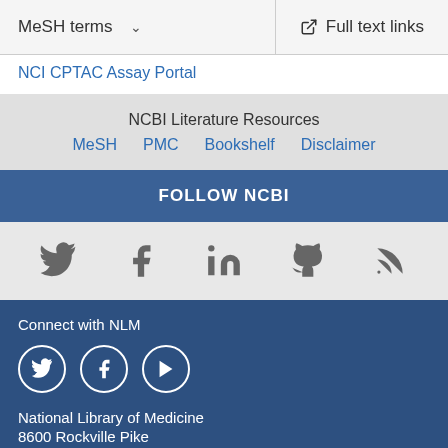MeSH terms
Full text links
NCI CPTAC Assay Portal
NCBI Literature Resources
MeSH   PMC   Bookshelf   Disclaimer
FOLLOW NCBI
[Figure (other): Social media icons: Twitter, Facebook, LinkedIn, GitHub, RSS feed - gray icons on light gray background]
Connect with NLM
[Figure (other): Social media circle icons: Twitter, Facebook, YouTube - white outline on dark blue background]
National Library of Medicine
8600 Rockville Pike